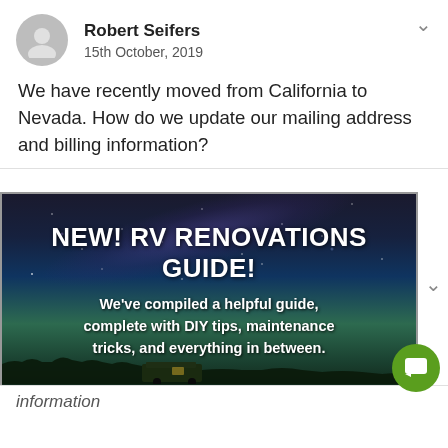Robert Seifers
15th October, 2019
We have recently moved from California to Nevada. How do we update our mailing address and billing information?
[Figure (infographic): Advertisement banner with starry night sky background showing an RV scene. Title reads 'NEW! RV RENOVATIONS GUIDE!' with subtitle 'We've compiled a helpful guide, complete with DIY tips, maintenance tricks, and everything in between.' and a purple button 'DOWNLOAD THE FREE GUIDE!']
information